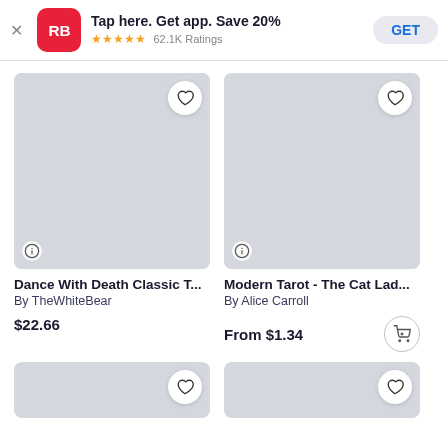Tap here. Get app. Save 20% ★★★★★ 62.1K Ratings GET
[Figure (screenshot): Product card: Dance With Death Classic T... by TheWhiteBear, gray placeholder image with heart button and info button]
[Figure (screenshot): Product card: Modern Tarot - The Cat Lad... by Alice Carroll, gray placeholder image with heart button and info button]
Dance With Death Classic T...
By TheWhiteBear
$22.66
Modern Tarot - The Cat Lad...
By Alice Carroll
From $1.34
[Figure (screenshot): Partial product card bottom left with heart button]
[Figure (screenshot): Partial product card bottom right with heart button]